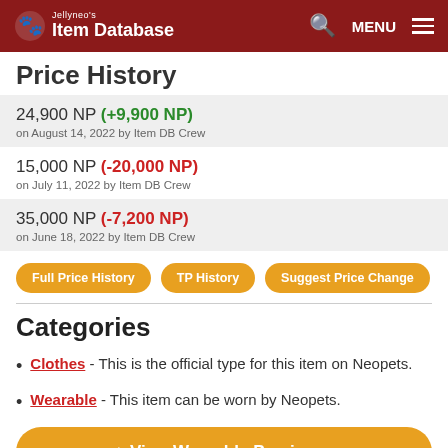Jellyneo's Item Database MENU
Price History
24,900 NP (+9,900 NP) on August 14, 2022 by Item DB Crew
15,000 NP (-20,000 NP) on July 11, 2022 by Item DB Crew
35,000 NP (-7,200 NP) on June 18, 2022 by Item DB Crew
Full Price History
TP History
Suggest Price Change
Categories
Clothes - This is the official type for this item on Neopets.
Wearable - This item can be worn by Neopets.
View Wearable Previews »